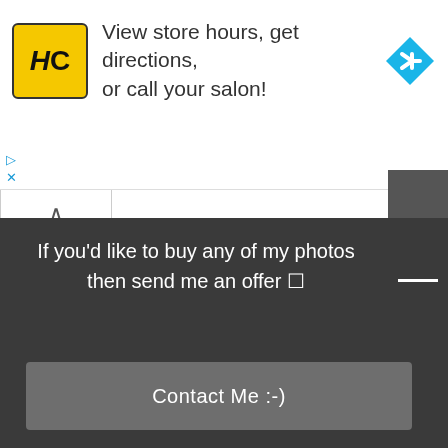[Figure (screenshot): Advertisement banner for a hair salon with HC logo in yellow, text 'View store hours, get directions, or call your salon!' and a blue diamond directional arrow icon]
Notify me of new posts by email.
POST COMMENT
This site uses Akismet to reduce spam. Learn how your comment data is processed.
If you'd like to buy any of my photos then send me an offer 🛒
Contact Me :-)